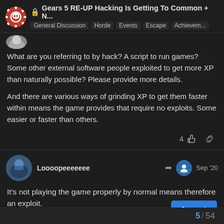Gears 5 RE-UP Hacking Is Getting To Common + N... General Discussion | Horde | Events | Escape | Achievem...
What are you referring to by hack? A script to run games? Some other external software people exploited to get more XP than naturally possible? Please provide more details.

And there are various ways of grinding XP to get them faster within means the game provides that require no exploits. Some easier or faster than others.
Loooopeeeeeee  Sep '20
It's not playing the game properly by normal means therefore an exploit.
5 / 54